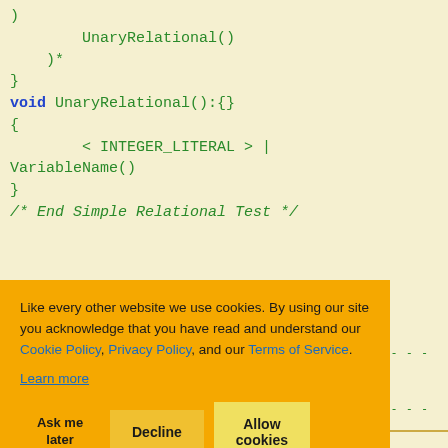)
        UnaryRelational()
    )*
}
void UnaryRelational():{}
{
        < INTEGER_LITERAL > |
VariableName()
}
/* End Simple Relational Test */
cal test if
---------------
VB
---------------
If 1 > 0
...
End If
Like every other website we use cookies. By using our site you acknowledge that you have read and understand our Cookie Policy, Privacy Policy, and our Terms of Service. Learn more